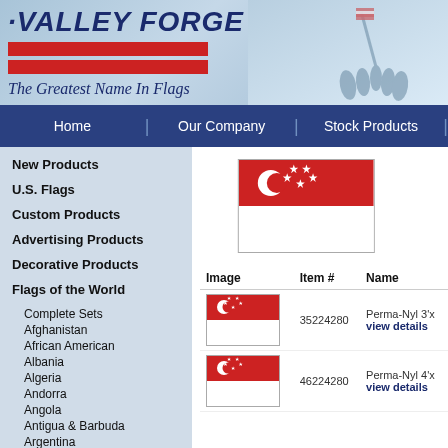[Figure (logo): Valley Forge flag company banner with logo, red stripes, tagline 'The Greatest Name In Flags', and Iwo Jima soldier silhouette background]
Home | Our Company | Stock Products
New Products
U.S. Flags
Custom Products
Advertising Products
Decorative Products
Flags of the World
Complete Sets
Afghanistan
African American
Albania
Algeria
Andorra
Angola
Antigua & Barbuda
Argentina
Armenia
Austrailia
[Figure (photo): Large Singapore flag image - red top half with crescent moon and five stars, white bottom half]
| Image | Item # | Name |
| --- | --- | --- |
| [Singapore flag small] | 35224280 | Perma-Nyl 3'x
view details |
| [Singapore flag small] | 46224280 | Perma-Nyl 4'x
view details |